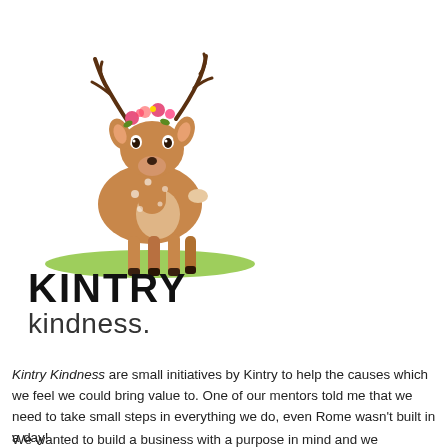[Figure (illustration): Watercolor illustration of a cute fawn/baby deer with flower crown on its head, standing on a green grass brush stroke. The deer is light brown with white spots and large eyes.]
Kintry Kindness are small initiatives by Kintry to help the causes which we feel we could bring value to. One of our mentors told me that we need to take small steps in everything we do, even Rome wasn't built in a day!
We wanted to build a business with a purpose in mind and we